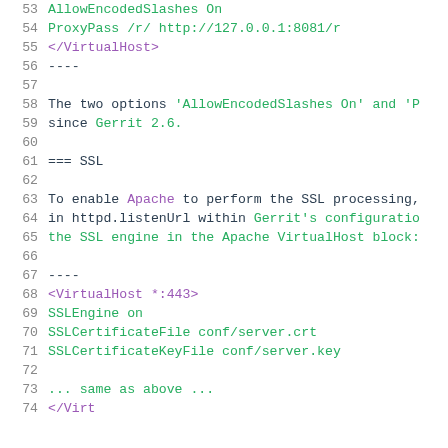Code block showing Apache/Gerrit configuration with lines 53-73 visible. Lines include AllowEncodedSlashes On, ProxyPass, VirtualHost tags, SSL configuration, and explanatory text about SSL processing.